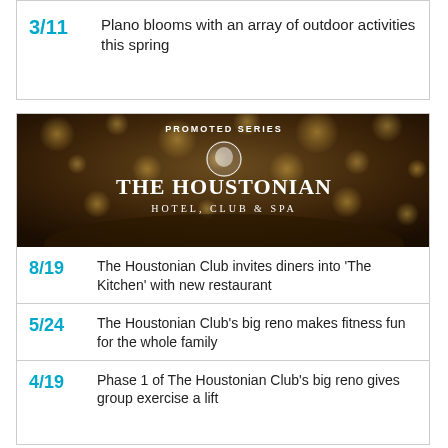3/11 Plano blooms with an array of outdoor activities this spring
[Figure (photo): The Houstonian Hotel, Club & Spa promotional banner with dark bokeh background and 'PROMOTED SERIES' text at top]
8/19 The Houstonian Club invites diners into 'The Kitchen' with new restaurant
5/24 The Houstonian Club's big reno makes fitness fun for the whole family
4/19 Phase 1 of The Houstonian Club's big reno gives group exercise a lift